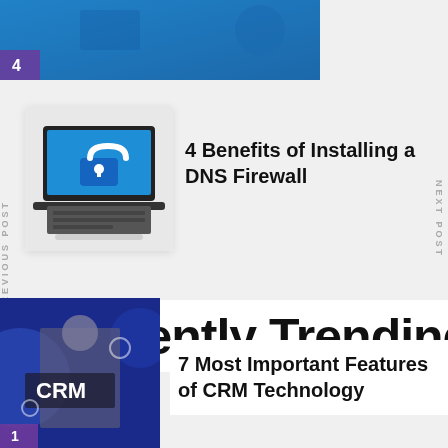[Figure (illustration): Top image strip with number 4, blue background with illustrated figures]
[Figure (illustration): Laptop computer with lock icon on screen, cybersecurity theme]
4 Benefits of Installing a DNS Firewall
PREVIOUS POST
NEXT POST
Currently Trending
[Figure (photo): Man in gray shirt with CRM text and technology icons, number 1]
7 Most Important Features of CRM Technology